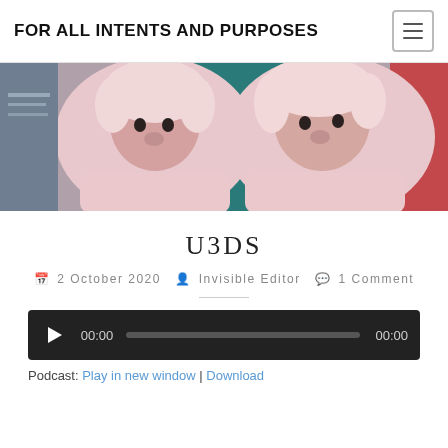FOR ALL INTENTS AND PURPOSES
[Figure (photo): Two people wearing pink fluffy bunny costumes/suits with hoods, standing in front of a colorful background with teal and red elements. They are looking at the camera with serious expressions.]
U3DS
2 October 2020  Invisible Editor  1 Comment
[Figure (screenshot): Audio player widget with dark background, play button, time display showing 00:00, progress bar, and end time 00:00]
Podcast: Play in new window | Download